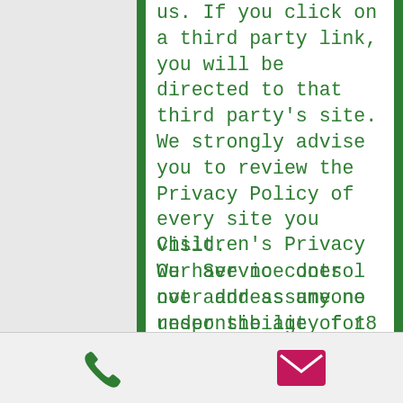us. If you click on a third party link, you will be directed to that third party's site. We strongly advise you to review the Privacy Policy of every site you visit.
We have no control over and assume no responsibility for the content, privacy policies or practices of any third party sites or services.
Children's Privacy
Our Service does not address anyone under the age of 18 ("Children").
We do not knowingly collect personally identifiable information from anyone under the age of 18. If you are a parent or guardian and you are aware that your Children have provided us with Personal Data...